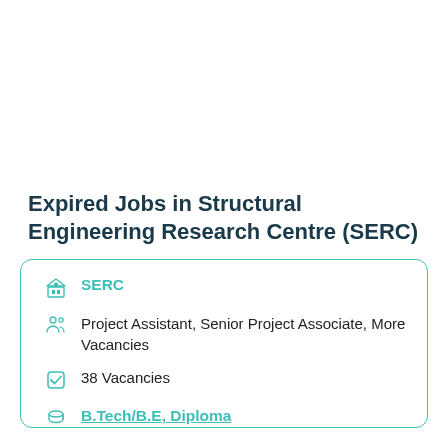Expired Jobs in Structural Engineering Research Centre (SERC)
SERC
Project Assistant, Senior Project Associate, More Vacancies
38 Vacancies
B.Tech/B.E, Diploma